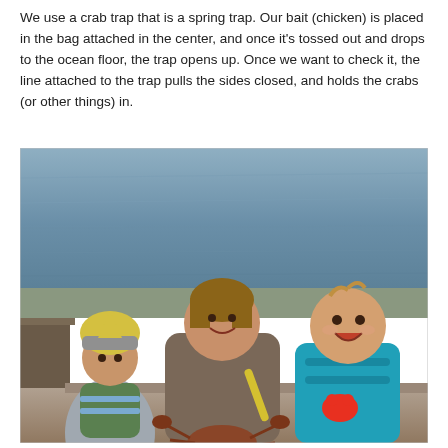We use a crab trap that is a spring trap. Our bait (chicken) is placed in the bag attached in the center, and once it's tossed out and drops to the ocean floor, the trap opens up. Once we want to check it, the line attached to the trap pulls the sides closed, and holds the crabs (or other things) in.
[Figure (photo): A woman and two young children posing near water (ocean or bay), holding a crab. The child on the left wears a shark or fish costume hat in yellow and gray. The woman in the center is smiling. The child on the right is laughing and wearing a teal life vest. The background shows rippling gray-blue water.]